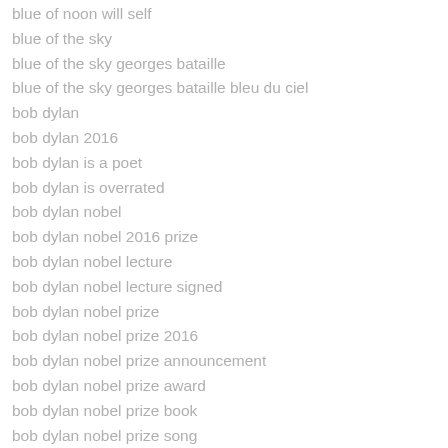blue of noon will self
blue of the sky
blue of the sky georges bataille
blue of the sky georges bataille bleu du ciel
bob dylan
bob dylan 2016
bob dylan is a poet
bob dylan is overrated
bob dylan nobel
bob dylan nobel 2016 prize
bob dylan nobel lecture
bob dylan nobel lecture signed
bob dylan nobel prize
bob dylan nobel prize 2016
bob dylan nobel prize announcement
bob dylan nobel prize award
bob dylan nobel prize book
bob dylan nobel prize song